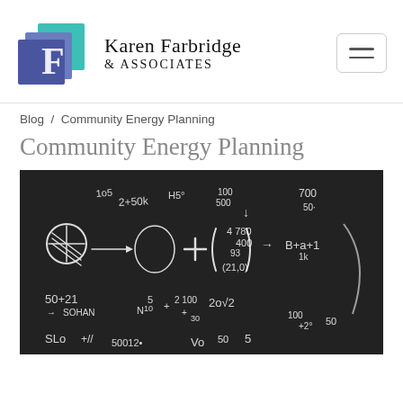[Figure (logo): Karen Farbridge & Associates logo with stylized 'F' in blue and teal overlapping squares, with company name in serif font, and a hamburger menu button on the right]
Blog / Community Energy Planning
Community Energy Planning
[Figure (photo): Photo of a dark chalkboard covered with handwritten mathematical equations and formulas in white chalk, including expressions like 2+50k, H50, 700, 50+21, SOHAN, B+a+1, (21,0), SLO, 50012, and various other mathematical notations]